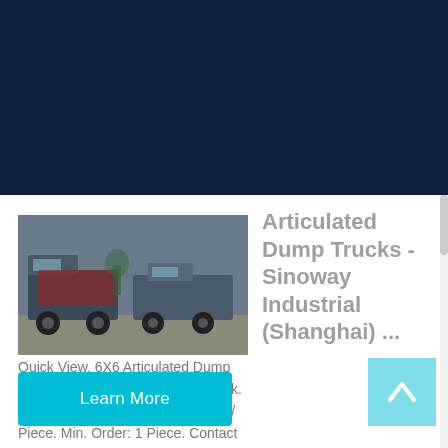Customer Care 0086-371-60922096
Articulated Dump Trucks - Sinoway Industrial (Shanghai) ...
[Figure (photo): Photo of articulated dump trucks parked outdoors]
Quick View. 6X6 Articulated Dump Truck 40 Ton off Road Mining Truck. FOB Price: US $377,000-380,000 / Piece. Min. Order: 1 Piece. Contact Now. Video. Quick View. High Performance Articulated Dump Truck 40 Ton off Road Mining Truck. FOB Price: US $299,500-370,000 / Piece.
Learn More